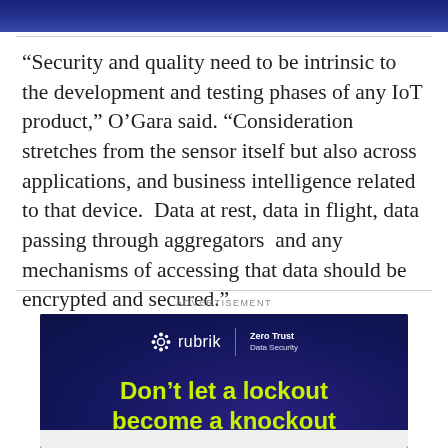[Figure (photo): Dark blue decorative image bar at top of page]
“Security and quality need to be intrinsic to the development and testing phases of any IoT product,” O’Gara said. “Consideration stretches from the sensor itself but also across applications, and business intelligence related to that device.  Data at rest, data in flight, data passing through aggregators  and any mechanisms of accessing that data should be encrypted and secured.”
ADVERTISEMENT
[Figure (infographic): Rubrik Zero Trust Data Security advertisement with dark blue background. Logo shows Rubrik snowflake icon with 'rubrik | Zero Trust Data Security' text. Headline reads 'Don't let a lockout become a knockout' in yellow-green bold text.]